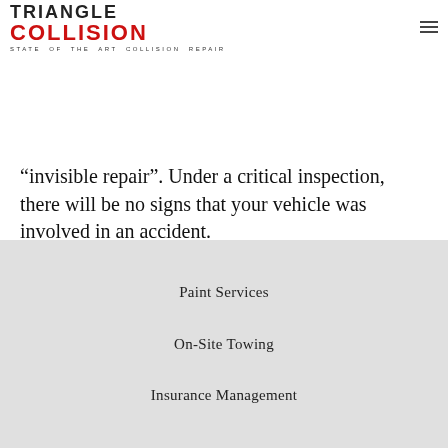[Figure (logo): Triangle Collision logo — TRIANGLE in black serif caps, COLLISION in bold red, STATE OF THE ART COLLISION REPAIR in small caps below]
“invisible repair”. Under a critical inspection, there will be no signs that your vehicle was involved in an accident.
Paint Services
On-Site Towing
Insurance Management